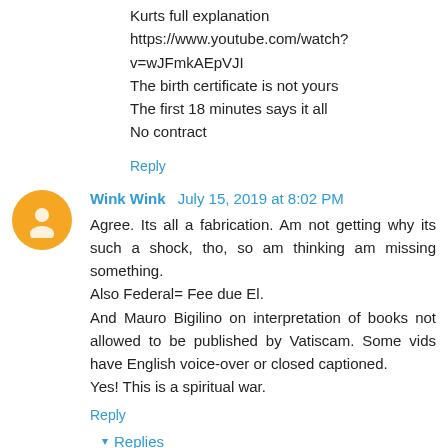Kurts full explanation
https://www.youtube.com/watch?v=wJFmkAEpVJI
The birth certificate is not yours
The first 18 minutes says it all
No contract
Reply
Wink Wink  July 15, 2019 at 8:02 PM
Agree. Its all a fabrication. Am not getting why its such a shock, tho, so am thinking am missing something.
Also Federal= Fee due El.
And Mauro Bigilino on interpretation of books not allowed to be published by Vatiscam. Some vids have English voice-over or closed captioned.
Yes! This is a spiritual war.
Reply
▾ Replies
Wink Wink  July 15, 2019 at 8:22 PM